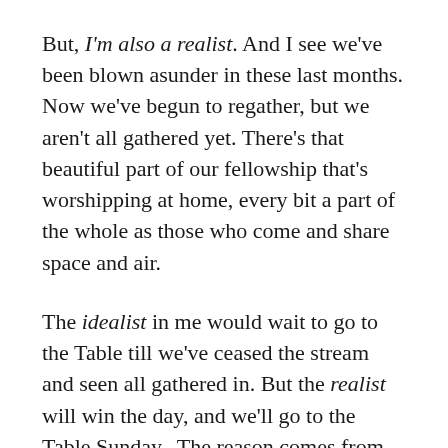But, I'm also a realist. And I see we've been blown asunder in these last months. Now we've begun to regather, but we aren't all gathered yet. There's that beautiful part of our fellowship that's worshipping at home, every bit a part of the whole as those who come and share space and air.
The idealist in me would wait to go to the Table till we've ceased the stream and seen all gathered in. But the realist will win the day, and we'll go to the Table Sunday.  The reason comes from two verses from Paul's first letter to the Corinthians. Here's the first:
For as often as you eat this bread and drink the